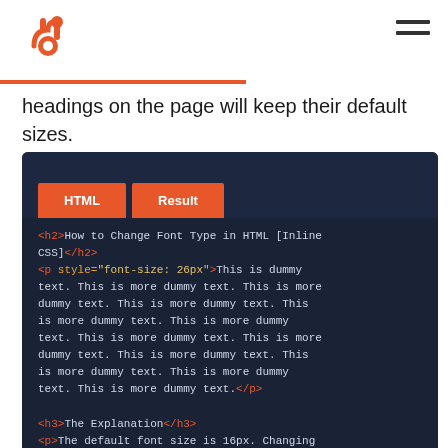HubSpot logo and navigation
headings on the page will keep their default sizes.
[Figure (screenshot): Code editor screenshot showing HTML and Result tabs with a LIVE badge. Code content shows an h2 heading 'How to Change Font Type in HTML [Inline CSS]', a paragraph with inline style font-size 26px containing dummy text, an h3 'The Explanation', and a paragraph about default font size being 16px and changing font size requiring a style attribute with CSS font-size property set to 26px.]